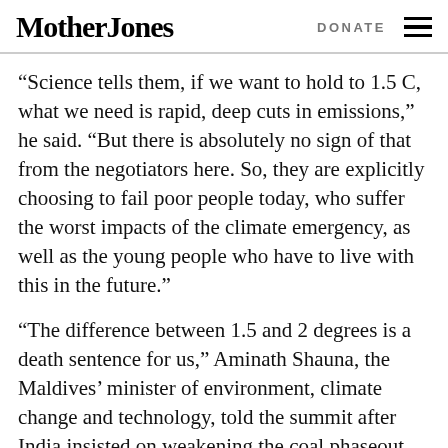Mother Jones | DONATE
“Science tells them, if we want to hold to 1.5 C, what we need is rapid, deep cuts in emissions,” he said. “But there is absolutely no sign of that from the negotiators here. So, they are explicitly choosing to fail poor people today, who suffer the worst impacts of the climate emergency, as well as the young people who have to live with this in the future.”
“The difference between 1.5 and 2 degrees is a death sentence for us,” Aminath Shauna, the Maldives’ minister of environment, climate change and technology, told the summit after India insisted on weakening the coal phaseout pledge. India had justified its position as a balanced and pragmatic